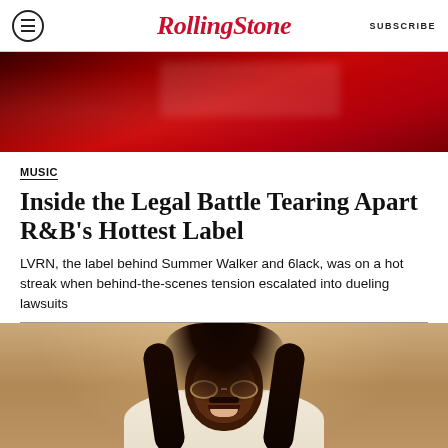RollingStone | SUBSCRIBE
[Figure (photo): Red-toned hero banner image, partial view of a venue or performance space with red lighting]
MUSIC
Inside the Legal Battle Tearing Apart R&B's Hottest Label
LVRN, the label behind Summer Walker and 6lack, was on a hot streak when behind-the-scenes tension escalated into dueling lawsuits
[Figure (photo): Portrait photo of a Black man with long dreadlocks, round glasses, a mustache and beard, smiling, wearing a light-colored outfit, photographed against a warm tan/beige background]